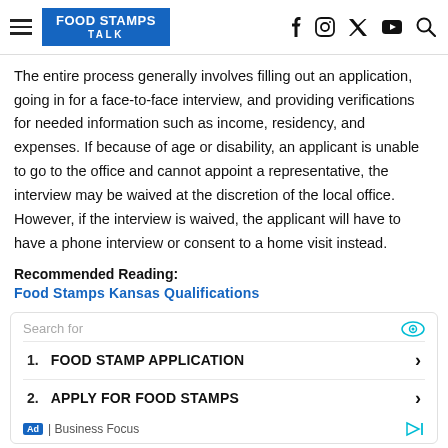FOOD STAMPS TALK
The entire process generally involves filling out an application, going in for a face-to-face interview, and providing verifications for needed information such as income, residency, and expenses. If because of age or disability, an applicant is unable to go to the office and cannot appoint a representative, the interview may be waived at the discretion of the local office. However, if the interview is waived, the applicant will have to have a phone interview or consent to a home visit instead.
Recommended Reading:
Food Stamps Kansas Qualifications
[Figure (screenshot): Advertisement box with 'Search for' label and teal eye icon, listing 1. FOOD STAMP APPLICATION and 2. APPLY FOR FOOD STAMPS with chevron arrows, footer showing Ad | Business Focus]